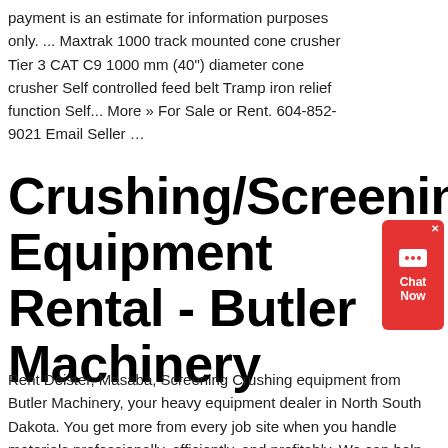payment is an estimate for information purposes only. ... Maxtrak 1000 track mounted cone crusher Tier 3 CAT C9 1000 mm (40") diameter cone crusher Self controlled feed belt Tramp iron relief function Self... More » For Sale or Rent. 604-852-9021 Email Seller …
[Figure (other): Red chat widget button with chat bubble icon and 'Chat Now' text]
Crushing/Screening Equipment Rental - Butler Machinery
Rent Deister, Masaba, Screening Crushing equipment from Butler Machinery, your heavy equipment dealer in North South Dakota. You get more from every job site when you handle materials professionally, efficiently, and profitably. We can help that happen. Contact us today for more information.